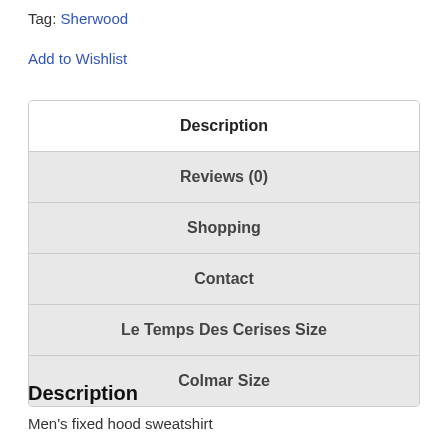Tag: Sherwood
Add to Wishlist
| Description |
| Reviews (0) |
| Shopping |
| Contact |
| Le Temps Des Cerises Size |
| Colmar Size |
Description
Men's fixed hood sweatshirt